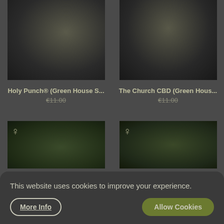[Figure (photo): Close-up photo of cannabis plant buds with white trichomes on dark background - top left product]
[Figure (photo): Close-up photo of cannabis plant buds with white trichomes on dark background - top right product]
Holy Punch® (Green House S...
€11.00
The Church CBD (Green Hous...
€11.00
[Figure (photo): Cannabis plant bud photo with female symbol overlay - bottom left product]
[Figure (photo): Cannabis plant bud photo with female symbol overlay - bottom right product]
This website uses cookies to improve your experience.
More Info
Allow Cookies